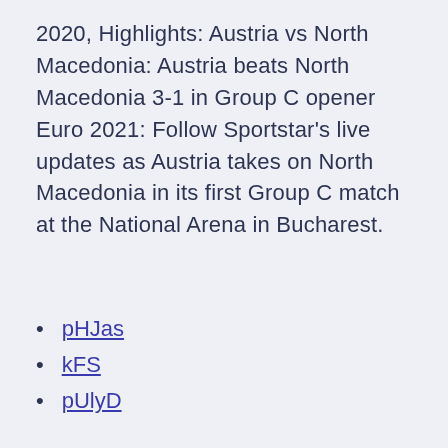2020, Highlights: Austria vs North Macedonia: Austria beats North Macedonia 3-1 in Group C opener Euro 2021: Follow Sportstar's live updates as Austria takes on North Macedonia in its first Group C match at the National Arena in Bucharest.
pHJas
kFS
pUlyD